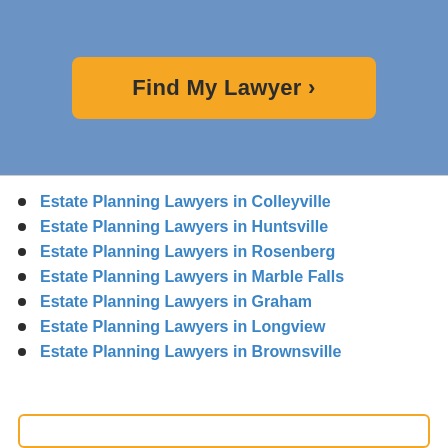[Figure (other): Blue header banner with orange 'Find My Lawyer >' button]
Estate Planning Lawyers in Colleyville
Estate Planning Lawyers in Huntsville
Estate Planning Lawyers in Rosenberg
Estate Planning Lawyers in Marble Falls
Estate Planning Lawyers in Graham
Estate Planning Lawyers in Longview
Estate Planning Lawyers in Brownsville